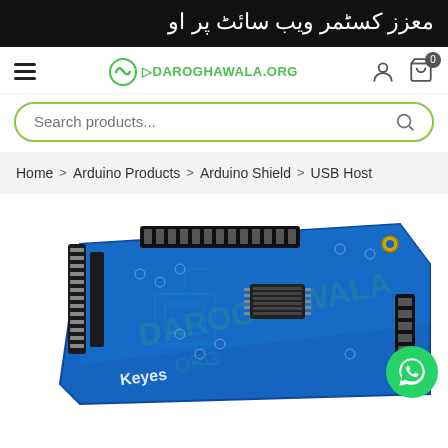معزز کسٹمر ویب سائٹ پر او
[Figure (screenshot): Daroghawala.org website navigation bar with hamburger menu, logo, user icon, and cart icon showing 0 items]
[Figure (screenshot): Search bar with placeholder text 'Search products...' and a search icon, styled with green border and rounded corners]
Home > Arduino Products > Arduino Shield > USB Host
[Figure (photo): Blue Arduino shield PCB board with black pin headers (Keyes brand), showing electronic components, mounted connector pins, and a watermark of the Daroghawala logo. A WhatsApp contact button appears in the bottom right.]